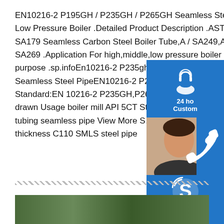EN10216-2 P195GH / P235GH / P265GH Seamless Steel Tubes For Low Pressure Boiler .Detailed Product Description .ASTM A179 ASME SA179 Seamless Carbon Steel Boiler Tube,A / SA249,A / SA268,A / SA269 .Application For high,middle,low pressure boiler pressure purpose .sp.infoEn10216-2 P235gh P265gh P355gh Carbon Seamless Steel PipeEN10216-2 P265GH Carbon steel pipe Standard:EN 10216-2 P235GH,P265GH,P355GH Technique:cold drawn Usage boiler mill API 5CT Standard2 and API P1 Grade Steel tubing seamless pipe View More Sizes API 5CT 8.0inch 1.5inch thickness C110 SMLS steel pipe
[Figure (infographic): Chat widget sidebar with three blue boxes: 24hr customer service headset icon, phone/agent photo, and Skype icon with Hello/Chat Now button]
[Figure (photo): Bottom partial image showing steel pipes or tubes in a warehouse/yard setting]